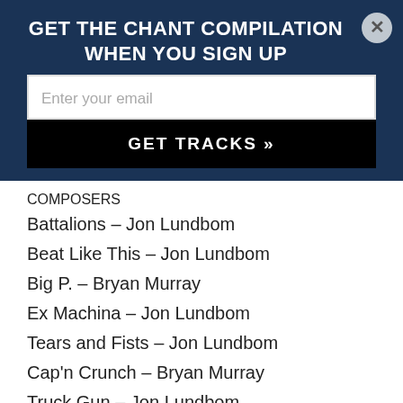GET THE CHANT COMPILATION WHEN YOU SIGN UP
[Figure (screenshot): Email input field with placeholder 'Enter your email']
GET TRACKS »
COMPOSERS
Battalions – Jon Lundbom
Beat Like This – Jon Lundbom
Big P. – Bryan Murray
Ex Machina – Jon Lundbom
Tears and Fists – Jon Lundbom
Cap'n Crunch – Bryan Murray
Truck Gun – Jon Lundbom
Enter! – Jon Lundbom
Weak Sauce – Bryan Murray
Hot Shit – Jon Lundbom